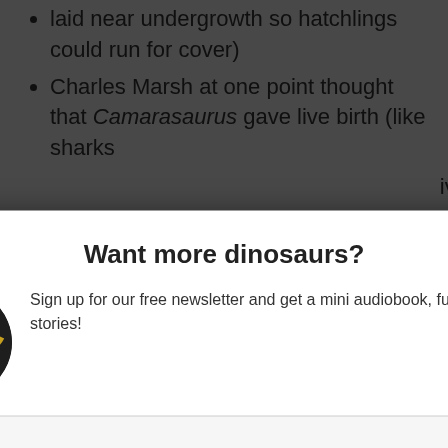laid near undergrowth so hatchlings could run for cover)
Charles Marsh at one point thought that Camarasaurus gave live birth (like sharks
d skull
een f... have b... t c... ere h... een
[Figure (screenshot): Newsletter signup modal popup with title 'Want more dinosaurs?', dinosaur book logo image, description text, Name and Email input fields, and orange Subscribe button. A close (X) button appears in the top-right corner of the modal.]
Sign up for our free newsletter and get a mini audiobook, full of dinosaur stories!
Had spatulate
Teeth were str... probably eat tough vegetation
We use... ance on our web... hrough... hat you